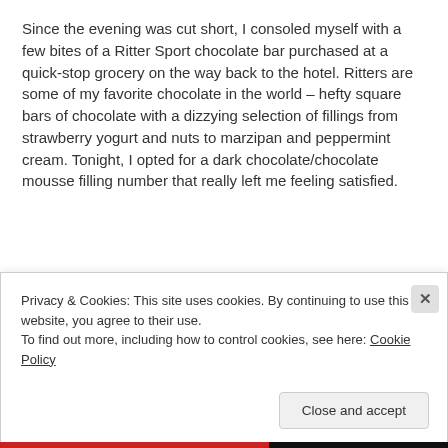Since the evening was cut short, I consoled myself with a few bites of a Ritter Sport chocolate bar purchased at a quick-stop grocery on the way back to the hotel. Ritters are some of my favorite chocolate in the world – hefty square bars of chocolate with a dizzying selection of fillings from strawberry yogurt and nuts to marzipan and peppermint cream. Tonight, I opted for a dark chocolate/chocolate mousse filling number that really left me feeling satisfied.
Privacy & Cookies: This site uses cookies. By continuing to use this website, you agree to their use.
To find out more, including how to control cookies, see here: Cookie Policy